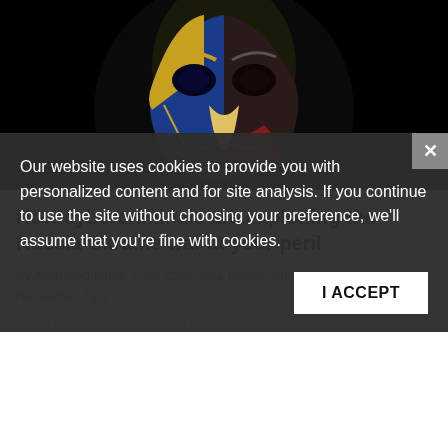[Figure (photo): Dark background with a Guy Fawkes / Anonymous mask painted in blue and yellow (Ukrainian flag colors) on one side and red on the other, against a black background.]
How cybercriminals are exploiting the Russia-Ukraine war at your peril
By Alvin Rodrigues, Field CSO, Asia Pacific, Infoblox | Aug 1, 2022 | Newsletter, Tips
Know their tactics, follow the tips here, and do not let your
Our website uses cookies to provide you with personalized content and for site analysis. If you continue to use the site without choosing your preference, we'll assume that you're fine with cookies.